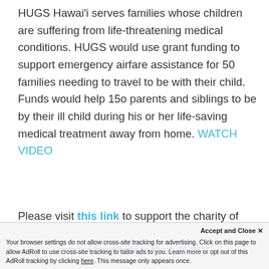HUGS Hawai'i serves families whose children are suffering from life-threatening medical conditions. HUGS would use grant funding to support emergency airfare assistance for 50 families needing to travel to be with their child.  Funds would help 150 parents and siblings to be by their ill child during his or her life-saving medical treatment away from home. WATCH VIDEO
Please visit this link to support the charity of your choice. The grant recipient will be
Accept and Close X
Your browser settings do not allow cross-site tracking for advertising. Click on this page to allow AdRoll to use cross-site tracking to tailor ads to you. Learn more or opt out of this AdRoll tracking by clicking here. This message only appears once.